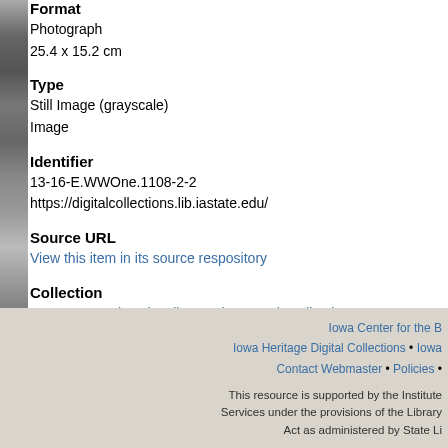Format
Photograph
25.4 x 15.2 cm
Type
Still Image (grayscale)
Image
Identifier
13-16-E.WWOne.1108-2-2
https://digitalcollections.lib.iastate.edu/
Source URL
View this item in its source respository
Collection
Iowa State University Library Photograph Collection
Iowa Center for the B
Iowa Heritage Digital Collections • Iowa
Contact Webmaster • Policies •
This resource is supported by the Institute
Services under the provisions of the Library
Act as administered by State Li